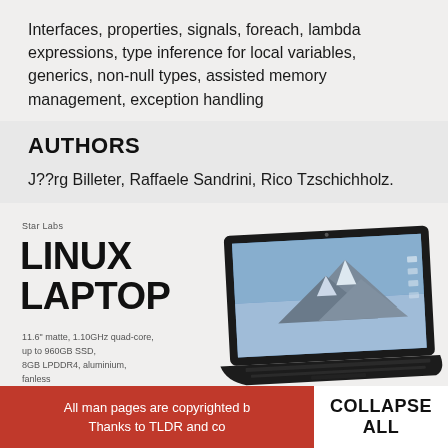Interfaces, properties, signals, foreach, lambda expressions, type inference for local variables, generics, non-null types, assisted memory management, exception handling
AUTHORS
J??rg Billeter, Raffaele Sandrini, Rico Tzschichholz.
[Figure (infographic): Star Labs Linux Laptop advertisement showing a black laptop with mountain wallpaper, priced at ~480€/$500. Specs: 11.6" matte, 1.10GHz quad-core, up to 960GB SSD, 8GB LPDDR4, aluminium, fanless.]
All man pages are copyrighted b... Thanks to TLDR and co...
COLLAPSE ALL